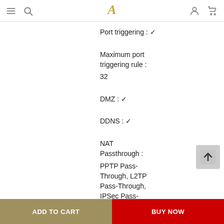Navigation bar with hamburger menu, search icon, logo, user icon, cart icon
Port triggering : ☑
Maximum port triggering rule : 32
DMZ : ☑
DDNS : ☑
NAT Passthrough :
PPTP Pass-Through, L2TP Pass-Through, IPSec Pass-
ADD TO CART   BUY NOW